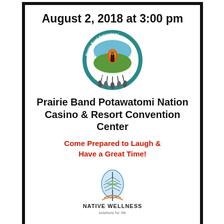August 2, 2018 at 3:00 pm
[Figure (logo): Prairie Band Potawatomi Nation tribal logo — circular seal with feathers, fire and figure, text around border]
Prairie Band Potawatomi Nation Casino & Resort Convention Center
Come Prepared to Laugh & Have a Great Time!
[Figure (logo): Native Wellness logo — feather with leaf design, text NATIVE WELLNESS below]
PBPN Hypnosis Show Flyer
[Figure (photo): Floral pattern strip — white background with pink, blue, and green flowers and stems]